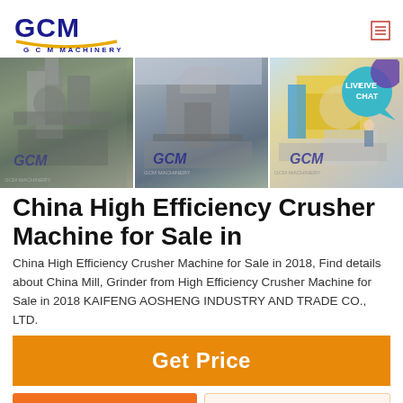[Figure (logo): GCM Machinery logo with blue stylized letters and gold underline, text 'G C M  MACHINERY' below]
[Figure (photo): Three banner photos side by side showing industrial crusher/mill machinery at manufacturing facilities, each with a GCM watermark logo. A teal 'LIVE CHAT' speech bubble badge in the top right corner.]
China High Efficiency Crusher Machine for Sale in
China High Efficiency Crusher Machine for Sale in 2018, Find details about China Mill, Grinder from High Efficiency Crusher Machine for Sale in 2018 KAIFENG AOSHENG INDUSTRY AND TRADE CO., LTD.
Get Price
Get a Quote
WhatsApp